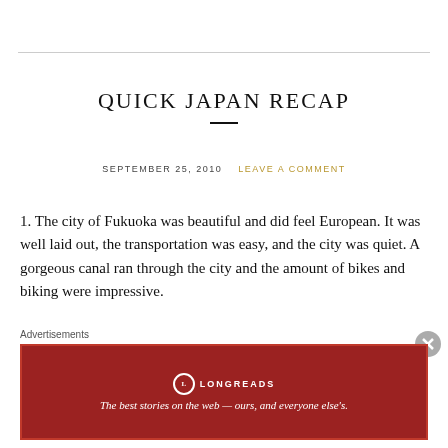QUICK JAPAN RECAP
SEPTEMBER 25, 2010   LEAVE A COMMENT
1. The city of Fukuoka was beautiful and did feel European.  It was well laid out, the transportation was easy, and the city was quiet.  A gorgeous canal ran through the city and the amount of bikes and biking were impressive.
2.  Ramen, the real thing, was unbelievably delicious.  It was so
Advertisements
[Figure (other): Longreads advertisement banner: red background with Longreads logo and tagline 'The best stories on the web — ours, and everyone else’s.']